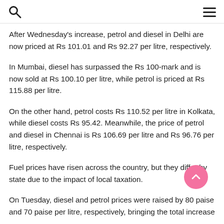Search and Menu icons
After Wednesday's increase, petrol and diesel in Delhi are now priced at Rs 101.01 and Rs 92.27 per litre, respectively.
In Mumbai, diesel has surpassed the Rs 100-mark and is now sold at Rs 100.10 per litre, while petrol is priced at Rs 115.88 per litre.
On the other hand, petrol costs Rs 110.52 per litre in Kolkata, while diesel costs Rs 95.42. Meanwhile, the price of petrol and diesel in Chennai is Rs 106.69 per litre and Rs 96.76 per litre, respectively.
Fuel prices have risen across the country, but they differ by state due to the impact of local taxation.
On Tuesday, diesel and petrol prices were raised by 80 paise and 70 paise per litre, respectively, bringing the total increase